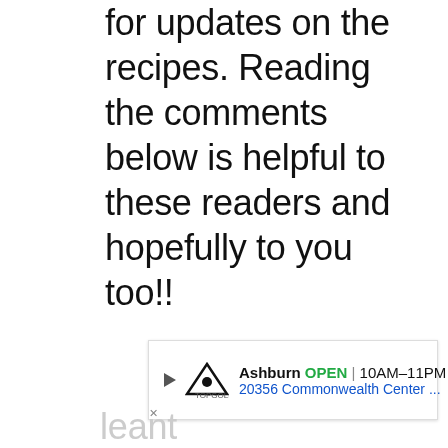for updates on the recipes. Reading the comments below is helpful to these readers and hopefully to you too!!
[Figure (screenshot): Advertisement banner for Topgolf Ashburn showing OPEN 10AM-11PM, 20356 Commonwealth Center..., with a navigation arrow icon and play/close buttons]